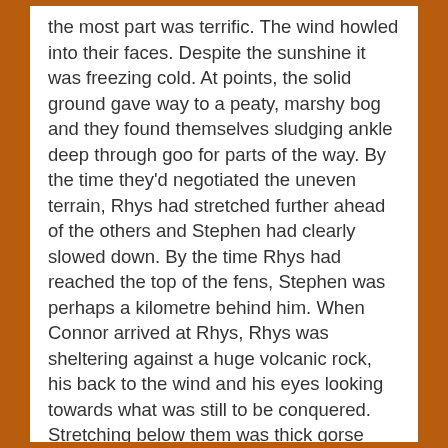the most part was terrific. The wind howled into their faces. Despite the sunshine it was freezing cold. At points, the solid ground gave way to a peaty, marshy bog and they found themselves sludging ankle deep through goo for parts of the way. By the time they'd negotiated the uneven terrain, Rhys had stretched further ahead of the others and Stephen had clearly slowed down. By the time Rhys had reached the top of the fens, Stephen was perhaps a kilometre behind him. When Connor arrived at Rhys, Rhys was sheltering against a huge volcanic rock, his back to the wind and his eyes looking towards what was still to be conquered. Stretching below them was thick gorse bush and shale, not the easiest of terrains to negotiate from the top of a hill. Beyond the gorse and shale was another pine forest, dark and foreboding, but welcome shelter from the exposed moorland they'd soon be leaving behind. As they waited for Stephen, they calculated they'd walked